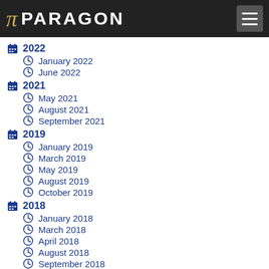PARAGON
2022
January 2022
June 2022
2021
May 2021
August 2021
September 2021
2019
January 2019
March 2019
May 2019
August 2019
October 2019
2018
January 2018
March 2018
April 2018
August 2018
September 2018
November 2018